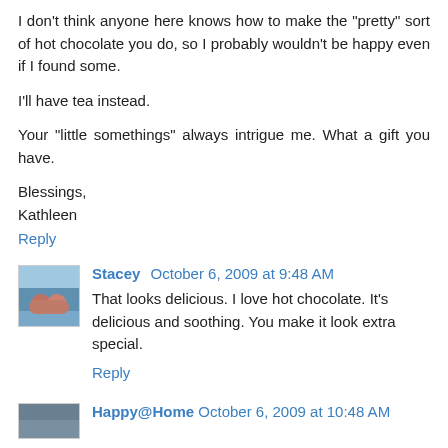I don't think anyone here knows how to make the "pretty" sort of hot chocolate you do, so I probably wouldn't be happy even if I found some.
I'll have tea instead.
Your "little somethings" always intrigue me. What a gift you have.
Blessings,
Kathleen
Reply
Stacey  October 6, 2009 at 9:48 AM
That looks delicious. I love hot chocolate. It's delicious and soothing. You make it look extra special.
Reply
Happy@Home  October 6, 2009 at 10:48 AM